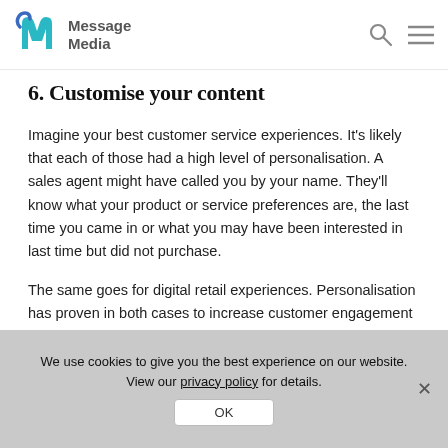Message Media
6. Customise your content
Imagine your best customer service experiences. It's likely that each of those had a high level of personalisation. A sales agent might have called you by your name. They'll know what your product or service preferences are, the last time you came in or what you may have been interested in last time but did not purchase.
The same goes for digital retail experiences. Personalisation has proven in both cases to increase customer engagement and
We use cookies to give you the best experience on our website. View our privacy policy for details.